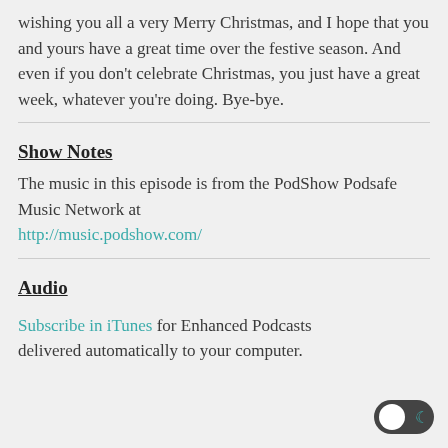wishing you all a very Merry Christmas, and I hope that you and yours have a great time over the festive season. And even if you don't celebrate Christmas, you just have a great week, whatever you're doing. Bye-bye.
Show Notes
The music in this episode is from the PodShow Podsafe Music Network at http://music.podshow.com/
Audio
Subscribe in iTunes for Enhanced Podcasts delivered automatically to your computer.